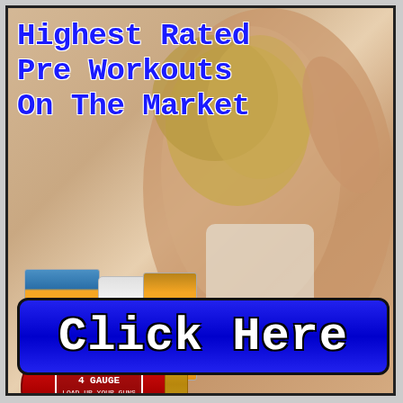[Figure (illustration): Advertisement image showing a woman from behind in a white sports bra with blonde hair, overlaid with text and product images including STIM-FREE pre-workout bag, white bottle, orange packet, and 4 GAUGE red shotgun shell canister. Blue 'Click Here' button at bottom.]
Highest Rated Pre Workouts On The Market
STIM-FREE
4 GAUGE
LOAD UP YOUR GUNS
Click Here